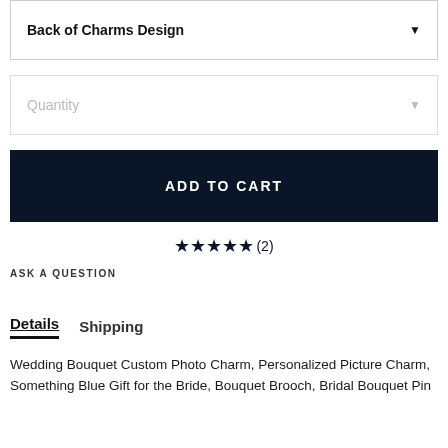Back of Charms Design
Quantity
ADD TO CART
★★★★★(2)
ASK A QUESTION
Details  Shipping
Wedding Bouquet Custom Photo Charm, Personalized Picture Charm, Something Blue Gift for the Bride, Bouquet Brooch, Bridal Bouquet Pin